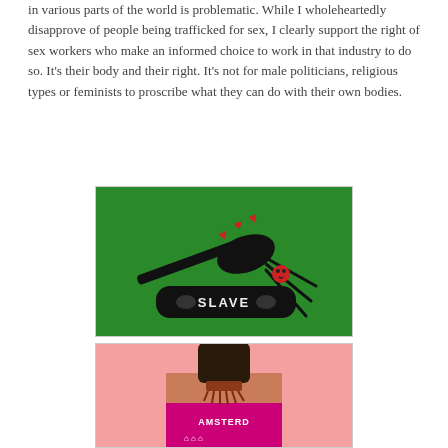in various parts of the world is problematic. While I wholeheartedly disapprove of people being trafficked for sex, I clearly support the right of sex workers who make an informed choice to work in that industry to do so. It's their body and their right. It's not for male politicians, religious types or feminists to proscribe what they can do with their own bodies.
[Figure (photo): Photo of black BDSM-themed accessories including a paddle with red hearts and a blindfold with 'SLAVE' written on it, on a green background.]
[Figure (photo): Photo of a knitted bottle cozy in pink with 'AMSTERDAM' text and small figures pattern on a pink background.]